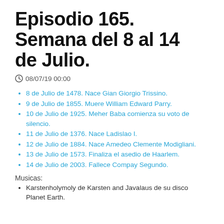Episodio 165. Semana del 8 al 14 de Julio.
08/07/19 00:00
8 de Julio de 1478. Nace Gian Giorgio Trissino.
9 de Julio de 1855. Muere William Edward Parry.
10 de Julio de 1925. Meher Baba comienza su voto de silencio.
11 de Julio de 1376. Nace Ladislao I.
12 de Julio de 1884. Nace Amedeo Clemente Modigliani.
13 de Julio de 1573. Finaliza el asedio de Haarlem.
14 de Julio de 2003. Fallece Compay Segundo.
Musicas:
Karstenholymoly de Karsten and Javalaus de su disco Planet Earth.